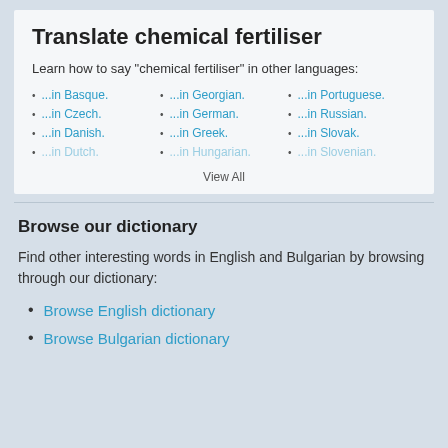Translate chemical fertiliser
Learn how to say "chemical fertiliser" in other languages:
...in Basque.
...in Czech.
...in Danish.
...in Dutch.
...in Georgian.
...in German.
...in Greek.
...in Hungarian.
...in Portuguese.
...in Russian.
...in Slovak.
...in Slovenian.
View All
Browse our dictionary
Find other interesting words in English and Bulgarian by browsing through our dictionary:
Browse English dictionary
Browse Bulgarian dictionary